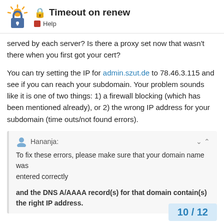🔒 Timeout on renew — Help
served by each server? Is there a proxy set now that wasn't there when you first got your cert?
You can try setting the IP for admin.szut.de to 78.46.3.115 and see if you can reach your subdomain. Your problem sounds like it is one of two things: 1) a firewall blocking (which has been mentioned already), or 2) the wrong IP address for your subdomain (time outs/not found errors).
Hananja: To fix these errors, please make sure that your domain name was entered correctly

and the DNS A/AAAA record(s) for that domain contain(s) the right IP address.
I'm still getting a time out trying to reach yo
10 / 12